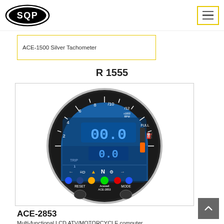SQP
ACE-1500 Silver Tachometer
R 1555
[Figure (photo): ACE-2853 Multi-functional LCD ATV/MOTORCYCLE computer gauge with blue backlit LCD display showing 00.0 readout, tachometer scale 0-12 x1000 RPM, fuel gauge, indicator lights (neutral, turn signals, oil, high beam), RESET and MODE buttons, and Acewell branding. Chrome-ringed round instrument cluster on black background.]
ACE-2853
Multi-functional LCD ATV/MOTORCYCLE computer...